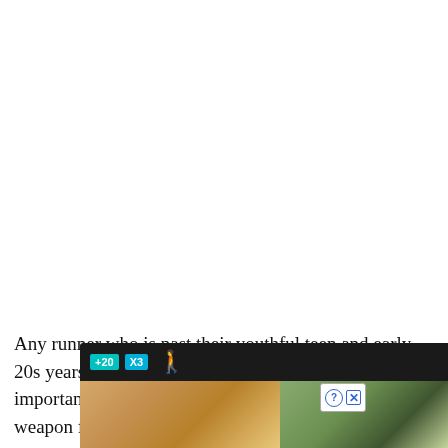[Figure (photo): Large white/blank area at top of page, likely image placeholder or cropped image area]
Any runner who is past their youthful teen and early 20s years knows that staying healthy is almost as important as running fast. A foam roller is a secret weapon for may runners and
[Figure (screenshot): Advertisement overlay at bottom showing a dark bar with +20 and X3 labels and a running person icon, over an image of outdoor nature scene with a question mark and X close button]